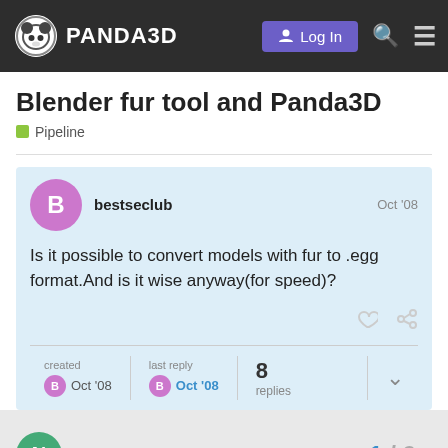PANDA3D — Log In
Blender fur tool and Panda3D
Pipeline
bestseclub — Oct '08
Is it possible to convert models with fur to .egg format.And is it wise anyway(for speed)?
created Oct '08   last reply Oct '08   8 replies
Nemesis_13   1 / 9